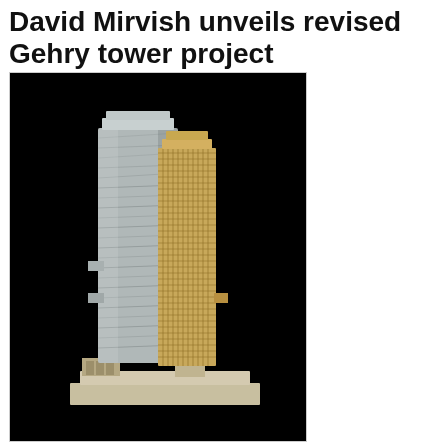David Mirvish unveils revised Gehry tower project
[Figure (photo): Architectural model of two tall skyscraper towers on a base. The left tower is taller and clad in crinkled silver/metallic material. The right tower is slightly shorter and has a gold/tan gridded facade. Both sit on a common base platform with smaller rectangular building forms. Background is black.]